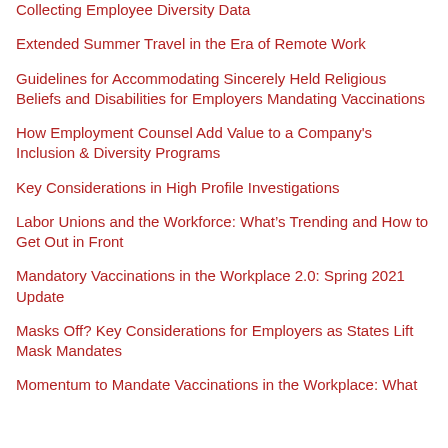Collecting Employee Diversity Data
Extended Summer Travel in the Era of Remote Work
Guidelines for Accommodating Sincerely Held Religious Beliefs and Disabilities for Employers Mandating Vaccinations
How Employment Counsel Add Value to a Company's Inclusion & Diversity Programs
Key Considerations in High Profile Investigations
Labor Unions and the Workforce: What’s Trending and How to Get Out in Front
Mandatory Vaccinations in the Workplace 2.0: Spring 2021 Update
Masks Off? Key Considerations for Employers as States Lift Mask Mandates
Momentum to Mandate Vaccinations in the Workplace: What